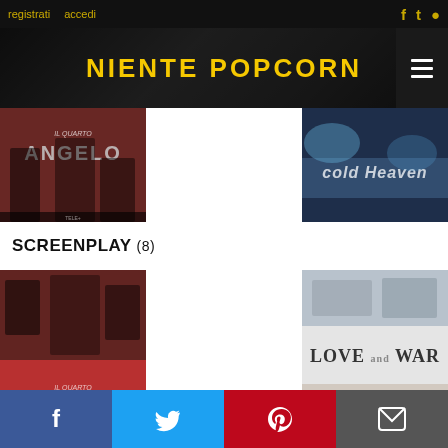registrati   accedi
NIENTE POPCORN
[Figure (photo): Movie poster for 'Il Quarto Angelo' - red toned dramatic film poster with actors]
[Figure (photo): Movie cover with text 'Cold Heaven' on dark blue background]
SCREENPLAY (8)
[Figure (photo): Large movie poster for 'Il Quarto Angelo' - same red toned dramatic film poster with actors]
[Figure (photo): Right side stacked images: top movie still, middle 'LOVE and WAR' text, bottom romantic scene]
Share buttons: Facebook, Twitter, Pinterest, Email